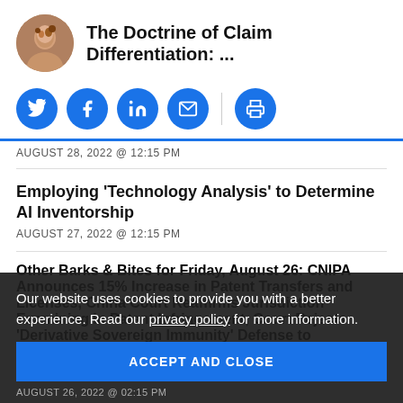The Doctrine of Claim Differentiation: ...
[Figure (infographic): Social sharing icons: Twitter, Facebook, LinkedIn, Email, Print — blue circular buttons]
AUGUST 28, 2022 @ 12:15 PM
Employing ‘Technology Analysis’ to Determine AI Inventorship
AUGUST 27, 2022 @ 12:15 PM
Other Barks & Bites for Friday, August 26: CNIPA Announces 15% Increase in Patent Transfers and Licenses, China Court Reaffirms Jurisdiction Examining in Patent Infringement, Court Rejects ‘Derivative Sovereign Immunity’ Defense to
AUGUST 26, 2022 @ 02:15 PM
Our website uses cookies to provide you with a better experience. Read our privacy policy for more information.
ACCEPT AND CLOSE